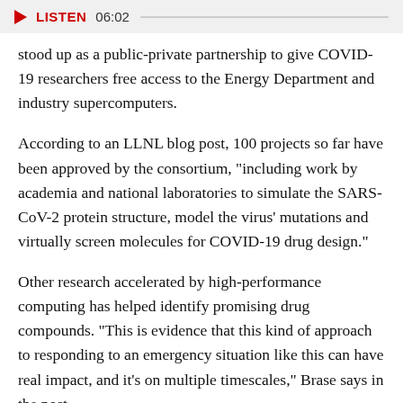[Figure (other): Audio player bar with play button, LISTEN label, duration 06:02, and progress bar]
stood up as a public-private partnership to give COVID-19 researchers free access to the Energy Department and industry supercomputers.
According to an LLNL blog post, 100 projects so far have been approved by the consortium, "including work by academia and national laboratories to simulate the SARS-CoV-2 protein structure, model the virus' mutations and virtually screen molecules for COVID-19 drug design."
Other research accelerated by high-performance computing has helped identify promising drug compounds. "This is evidence that this kind of approach to responding to an emergency situation like this can have real impact, and it's on multiple timescales," Brase says in the post.
What are the basics of high-performance computing, and